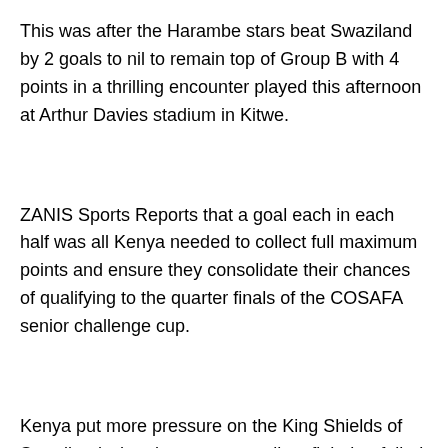This was after the Harambe stars beat Swaziland by 2 goals to nil to remain top of Group B with 4 points in a thrilling encounter played this afternoon at Arthur Davies stadium in Kitwe.
ZANIS Sports Reports that a goal each in each half was all Kenya needed to collect full maximum points and ensure they consolidate their chances of qualifying to the quarter finals of the COSAFA senior challenge cup.
Kenya put more pressure on the King Shields of Swaziland who also put up a gallant fight but failed to get to the back of the net.